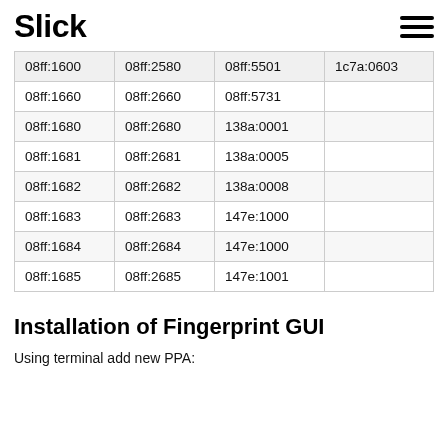Slick
| 08ff:1600 | 08ff:2580 | 08ff:5501 | 1c7a:0603 |
| 08ff:1660 | 08ff:2660 | 08ff:5731 |  |
| 08ff:1680 | 08ff:2680 | 138a:0001 |  |
| 08ff:1681 | 08ff:2681 | 138a:0005 |  |
| 08ff:1682 | 08ff:2682 | 138a:0008 |  |
| 08ff:1683 | 08ff:2683 | 147e:1000 |  |
| 08ff:1684 | 08ff:2684 | 147e:1000 |  |
| 08ff:1685 | 08ff:2685 | 147e:1001 |  |
Installation of Fingerprint GUI
Using terminal add new PPA: